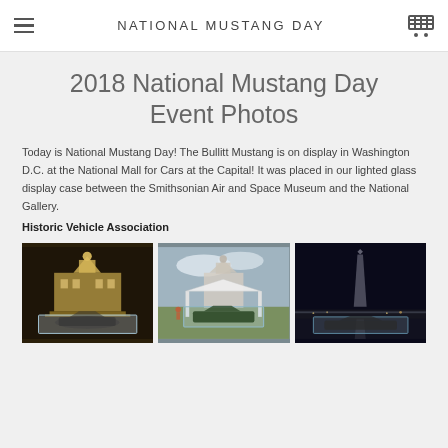NATIONAL MUSTANG DAY
2018 National Mustang Day Event Photos
Today is National Mustang Day! The Bullitt Mustang is on display in Washington D.C. at the National Mall for Cars at the Capital! It was placed in our lighted glass display case between the Smithsonian Air and Space Museum and the National Gallery.
Historic Vehicle Association
[Figure (photo): Night photo of illuminated US Capitol building with Bullitt Mustang in glass display case in foreground]
[Figure (photo): Daytime photo of Bullitt Mustang in glass display case on National Mall with Capitol building in background]
[Figure (photo): Night photo of Washington Monument with Bullitt Mustang in glass display case in foreground]